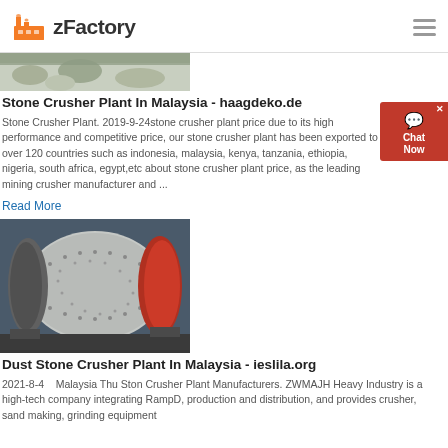zFactory
[Figure (photo): Aerial or ground-level photo of a stone crusher plant showing gravel/aggregate material]
Stone Crusher Plant In Malaysia - haagdeko.de
Stone Crusher Plant. 2019-9-24stone crusher plant price due to its high performance and competitive price, our stone crusher plant has been exported to over 120 countries such as indonesia, malaysia, kenya, tanzania, ethiopia, nigeria, south africa, egypt,etc about stone crusher plant price, as the leading mining crusher manufacturer and ...
Read More
[Figure (photo): Industrial ball mill or drum equipment for stone crushing, shown in a factory setting with green/red coloring]
Dust Stone Crusher Plant In Malaysia - ieslila.org
2021-8-4   Malaysia Thu Ston Crusher Plant Manufacturers. ZWMAJH Heavy Industry is a high-tech company integrating RampD, production and distribution, and provides crusher, sand making, grinding equipment